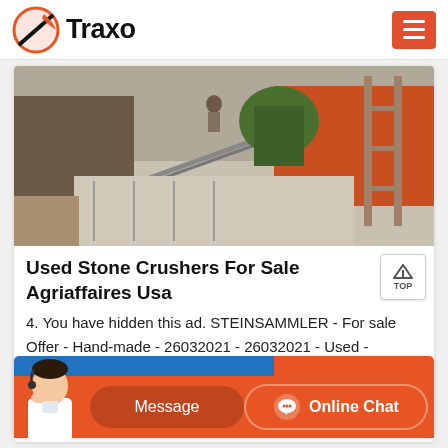[Figure (logo): Traxo logo with orange circular rocket icon and bold black Traxo text]
[Figure (photo): Construction site photo showing stone crushing machinery, concrete structures, scaffolding, green mixer, and orange machinery in background]
Used Stone Crushers For Sale Agriaffaires Usa
4. You have hidden this ad. STEINSAMMLER - For sale Offer - Hand-made - 26032021 - 26032021 - Used - Condition not indicated. Stone crusher. Germany, Mecklenburg-Vorpommern MV 6,595 . Ventura TPV160. 10. You have hidden this ad.
[Figure (screenshot): Chat support widget with Message and Online Chat buttons, support agent image, blue and orange background]